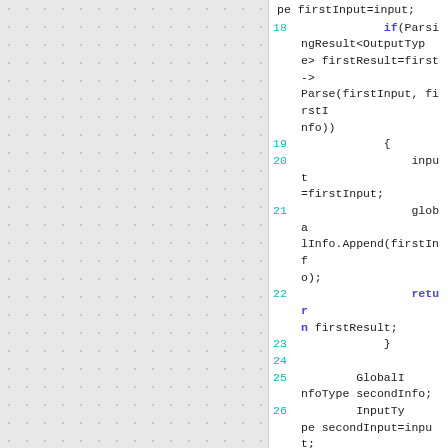[Figure (screenshot): Left panel with dotted/grid background pattern (light gray)]
pe firstInput=input;
18    if(ParsingResult<OutputType> firstResult=first->Parse(firstInput, firstInfo))
19    {
20        input=firstInput;
21        globalInfo.Append(firstInfo);
22        return firstResult;
23    }
24
25        GlobalInfoType secondInfo;
26        InputType secondInput=input;
27    if(ParsingResult<OutputType> secondResult=se...